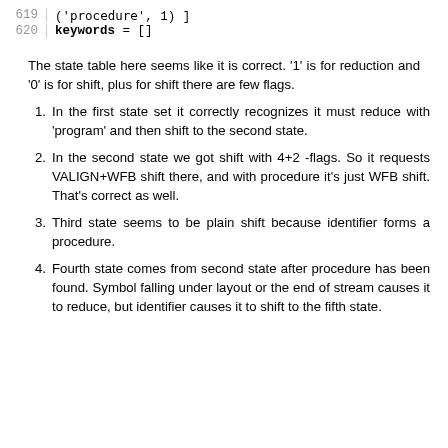('procedure', 1) ]
620 keywords = []
The state table here seems like it is correct. '1' is for reduction and '0' is for shift, plus for shift there are few flags.
In the first state set it correctly recognizes it must reduce with 'program' and then shift to the second state.
In the second state we got shift with 4+2 -flags. So it requests VALIGN+WFB shift there, and with procedure it's just WFB shift. That's correct as well.
Third state seems to be plain shift because identifier forms a procedure.
Fourth state comes from second state after procedure has been found. Symbol falling under layout or the end of stream causes it to reduce, but identifier causes it to shift to the fifth state.